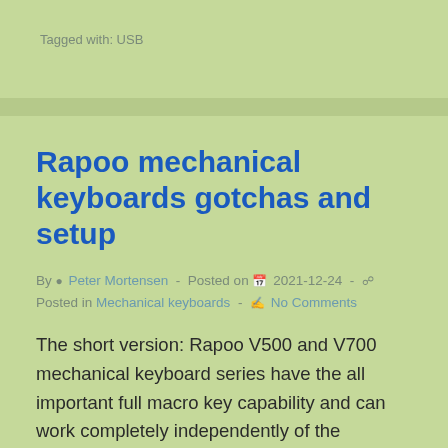Tagged with: USB
Rapoo mechanical keyboards gotchas and setup
By  Peter Mortensen  -  Posted on  2021-12-24  -  Posted in Mechanical keyboards  -  No Comments
The short version: Rapoo V500 and V700 mechanical keyboard series have the all important full macro key capability and can work completely independently of the operating system (no software is required to be installed on the operating system for the…